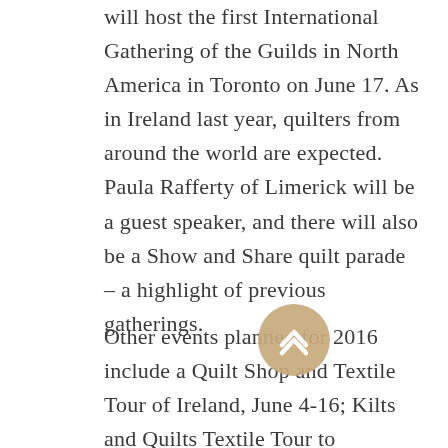will host the first International Gathering of the Guilds in North America in Toronto on June 17. As in Ireland last year, quilters from around the world are expected. Paula Rafferty of Limerick will be a guest speaker, and there will also be a Show and Share quilt parade – a highlight of previous gatherings.
Other events planned for 2016 include a Quilt Shop and Textile Tour of Ireland, June 4-16; Kilts and Quilts Textile Tour to Scotland with Patience Griffin (author of the Kilts and Quilts book series) September 19-October 1; and Alsace